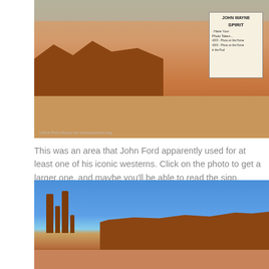[Figure (photo): Photo of a desert landscape at Monument Valley showing red sand ground, a red rock formation on the left, blue sky, and a sign board on the right reading 'John Wayne Spirit - Have Your Photo Taken...' with a person visible in the background. Watermark at bottom left.]
This was an area that John Ford apparently used for at least one of his iconic westerns. Click on the photo to get a larger one, and maybe you'll be able to read the sign.
[Figure (photo): Photo of Monument Valley buttes and spires against a bright blue sky. Three tall thin sandstone spires/needles are visible on the left side, and a large flat-topped mesa/butte extends across the right side of the frame. Red sandy ground is visible in the foreground.]